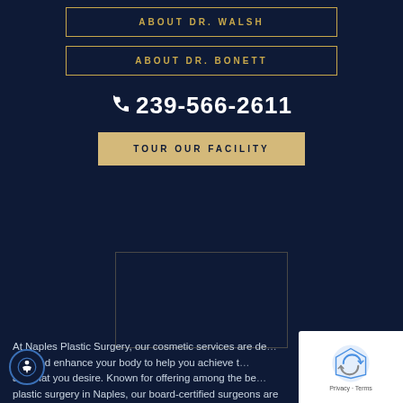ABOUT DR. WALSH
ABOUT DR. BONETT
239-566-2611
TOUR OUR FACILITY
At Naples Plastic Surgery, our cosmetic services are de... tour and enhance your body to help you achieve t... age that you desire. Known for offering among the be... plastic surgery in Naples, our board-certified surgeons are...